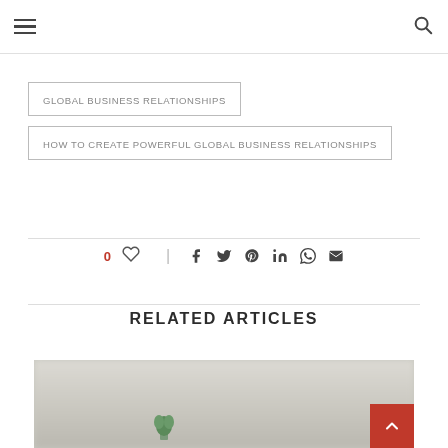Navigation header with hamburger menu and search icon
GLOBAL BUSINESS RELATIONSHIPS
HOW TO CREATE POWERFUL GLOBAL BUSINESS RELATIONSHIPS
0 likes, share buttons: Facebook, Twitter, Pinterest, LinkedIn, WhatsApp, Email
RELATED ARTICLES
[Figure (photo): Blurred photo of a desk scene with a small green plant, used as a decorative image for related articles section]